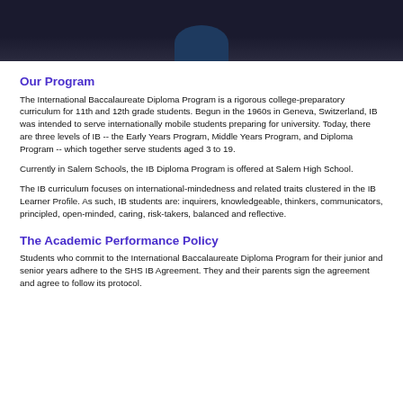[Figure (photo): Dark background image with a partial circular logo/emblem visible at the top center, dark navy/black tones]
Our Program
The International Baccalaureate Diploma Program is a rigorous college-preparatory curriculum for 11th and 12th grade students. Begun in the 1960s in Geneva, Switzerland, IB was intended to serve internationally mobile students preparing for university. Today, there are three levels of IB -- the Early Years Program, Middle Years Program, and Diploma Program -- which together serve students aged 3 to 19.
Currently in Salem Schools, the IB Diploma Program is offered at Salem High School.
The IB curriculum focuses on international-mindedness and related traits clustered in the IB Learner Profile. As such, IB students are: inquirers, knowledgeable, thinkers, communicators, principled, open-minded, caring, risk-takers, balanced and reflective.
The Academic Performance Policy
Students who commit to the International Baccalaureate Diploma Program for their junior and senior years adhere to the SHS IB Agreement. They and their parents sign the agreement and agree to follow its protocol.